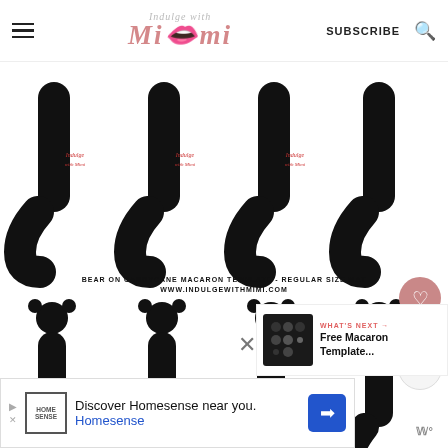Indulge with Mimi — SUBSCRIBE
[Figure (illustration): Bear on candy cane macaron template silhouettes - top row of 4 bears without heads shown cropped, and bottom row of 4 complete bear-on-candy-cane silhouettes in black on white background. Watermark text: Indulge with Mimi. Label text: BEAR ON CANDYCANE MACARON TEMPLATE - REGULAR SIZE MAT / WWW.INDULGEWITHMIMI.COM]
3K
WHAT'S NEXT → Free Macaron Template...
Discover Homesense near you. Homesense